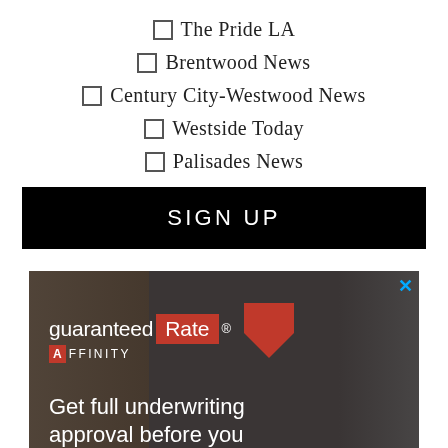☐ The Pride LA
☐ Brentwood News
☐ Century City-Westwood News
☐ Westside Today
☐ Palisades News
SIGN UP
[Figure (other): Guaranteed Rate Affinity advertisement banner. Dark background with logo showing 'guaranteed Rate' with a red downward arrow and 'AFFINITY' text below. Tagline reads: 'Get full underwriting approval before you']